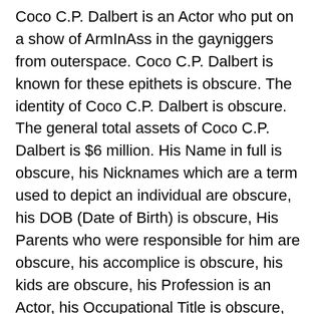Coco C.P. Dalbert is an Actor who put on a show of ArmInAss in the gayniggers from outerspace. Coco C.P. Dalbert is known for these epithets is obscure. The identity of Coco C.P. Dalbert is obscure. The general total assets of Coco C.P. Dalbert is $6 million. His Name in full is obscure, his Nicknames which are a term used to depict an individual are obscure, his DOB (Date of Birth) is obscure, His Parents who were responsible for him are obscure, his accomplice is obscure, his kids are obscure, his Profession is an Actor, his Occupational Title is obscure, his Nationality which is a term used to portray where is he from is obscure, his Formal instruction is obscure, nonetheless, we realize that he is $6 million in net worth. His Location of birth is obscure; his Nominations are acknowledged are obscure, his Facebook account, which is a web-based entertainment stage that permits his fans to contact him is obscure. Additionally, his Twitter account is a virtual entertainment stage that permits